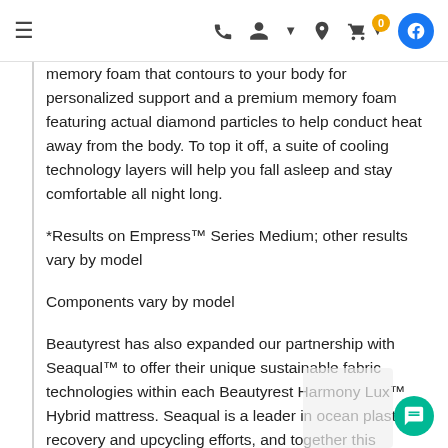≡  [phone] [account] [location] [cart 0] [facebook]
memory foam that contours to your body for personalized support and a premium memory foam featuring actual diamond particles to help conduct heat away from the body. To top it off, a suite of cooling technology layers will help you fall asleep and stay comfortable all night long.
*Results on Empress™ Series Medium; other results vary by model
Components vary by model
Beautyrest has also expanded our partnership with Seaqual™ to offer their unique sustainable fabric technologies within each Beautyrest Harmony Lux™ Hybrid mattress. Seaqual is a leader in ocean plastic recovery and upcycling efforts, and together this partnership will help promote cleaner oceans with every mattress sold.